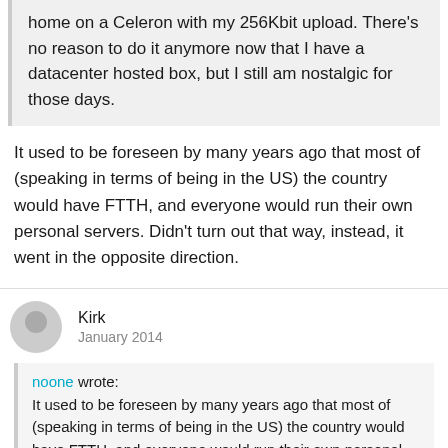home on a Celeron with my 256Kbit upload. There's no reason to do it anymore now that I have a datacenter hosted box, but I still am nostalgic for those days.
It used to be foreseen by many years ago that most of (speaking in terms of being in the US) the country would have FTTH, and everyone would run their own personal servers. Didn't turn out that way, instead, it went in the opposite direction.
Kirk
January 2014
noone wrote:
It used to be foreseen by many years ago that most of (speaking in terms of being in the US) the country would have FTTH, and everyone would run their own personal servers. Didn't turn out that way, instead, it went in the opposite direction.